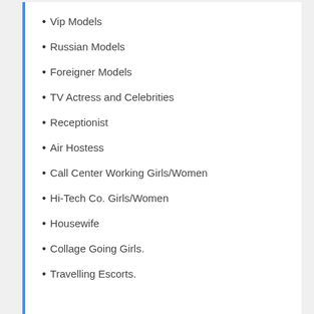Vip Models
Russian Models
Foreigner Models
TV Actress and Celebrities
Receptionist
Air Hostess
Call Center Working Girls/Women
Hi-Tech Co. Girls/Women
Housewife
Collage Going Girls.
Travelling Escorts.